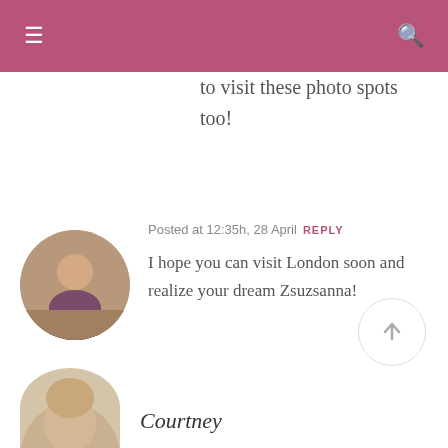≡  🔍
to visit these photo spots too!
[Figure (photo): Circular avatar photo of a person sitting outdoors near a fence with flowers]
Posted at 12:35h, 28 April  REPLY
I hope you can visit London soon and realize your dream Zsuzsanna!
[Figure (illustration): Scroll-to-top circular button with an upward arrow]
Courtney